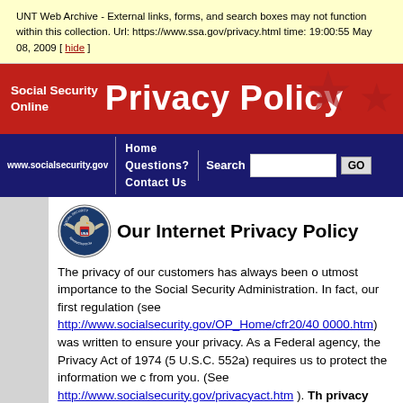UNT Web Archive - External links, forms, and search boxes may not function within this collection. Url: https://www.ssa.gov/privacy.html time: 19:00:55 May 08, 2009 [ hide ]
Privacy Policy
Social Security Online | www.socialsecurity.gov | Home | Questions? | Contact Us | Search | GO
Our Internet Privacy Policy
The privacy of our customers has always been of utmost importance to the Social Security Administration. In fact, our first regulation (see http://www.socialsecurity.gov/OP_Home/cfr20/400000.htm) was written to ensure your privacy. As a Federal agency, the Privacy Act of 1974 (5 U.S.C. 552a) requires us to protect the information we collect from you. (See http://www.socialsecurity.gov/privacyact.htm ). The privacy policy outlined below applies to the data we collect from you over the Internet.